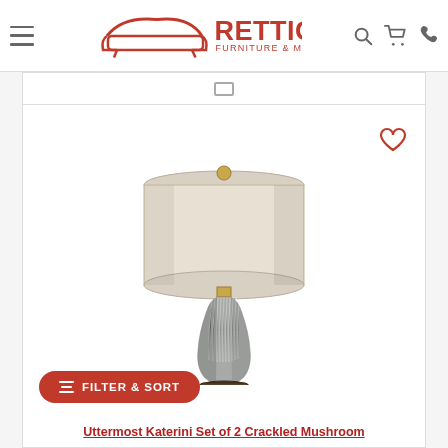Rettig Furniture & Mattress — navigation header with hamburger menu, logo, search, cart, and phone icons
[Figure (photo): A decorative table lamp — Uttermost Katerini Set of 2 Crackled Mushroom — featuring a textured ribbed ceramic vase base in gray/silver tones with a dark wood footed base, a gold finial, and a large oval off-white/cream drum shade.]
Uttermost Katerini Set of 2 Crackled Mushroom